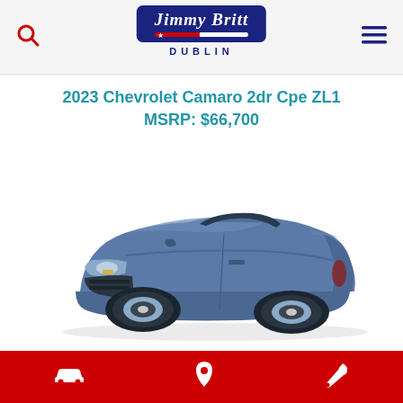Jimmy Britt DUBLIN
2023 Chevrolet Camaro 2dr Cpe ZL1
MSRP: $66,700
[Figure (photo): Blue 2023 Chevrolet Camaro convertible, 3/4 front view, shown on white background]
Car icon | Location pin icon | Wrench icon